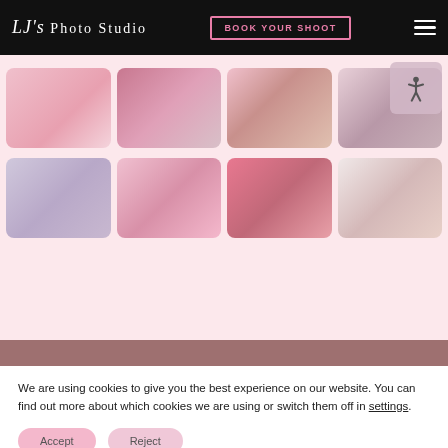LJ's Photo Studio — BOOK YOUR SHOOT
[Figure (photo): Photo studio gallery grid showing 8 photos of women and children in pink floral studio settings, arranged in 2 rows of 4]
We are using cookies to give you the best experience on our website. You can find out more about which cookies we are using or switch them off in settings.
Accept
Reject